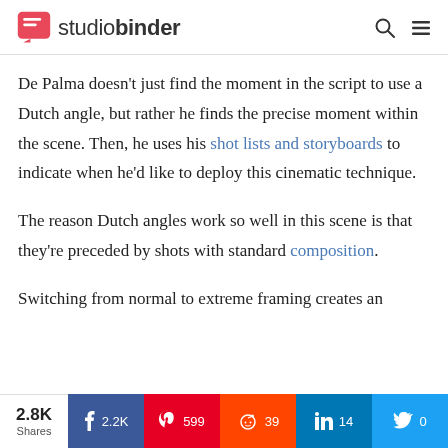studiobinder
De Palma doesn't just find the moment in the script to use a Dutch angle, but rather he finds the precise moment within the scene. Then, he uses his shot lists and storyboards to indicate when he'd like to deploy this cinematic technique.
The reason Dutch angles work so well in this scene is that they're preceded by shots with standard composition.
Switching from normal to extreme framing creates an
2.8K Shares | Facebook 2.2K | Pinterest 599 | Reddit 39 | LinkedIn 14 | Twitter 0